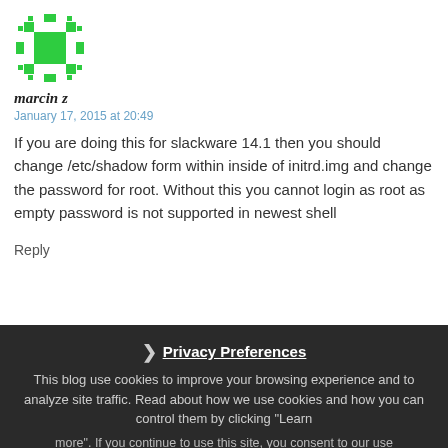[Figure (illustration): Green pixelated avatar icon for user marcin z]
marcin z
January 17, 2015 at 20:49
If you are doing this for slackware 14.1 then you should change /etc/shadow form within inside of initrd.img and change the password for root. Without this you cannot login as root as empty password is not supported in newest shell
Reply
Privacy Preferences
This blog use cookies to improve your browsing experience and to analyze site traffic. Read about how we use cookies and how you can control them by clicking "Learn more". If you continue to use this site, you consent to our use of cookies.